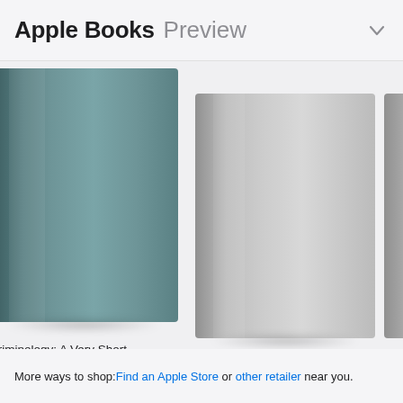Apple Books Preview
[Figure (illustration): Book cover for 'Criminology: A Very Short Introduction' — solid teal/grey-green gradient cover with spine shadow effect]
Criminology: A Very Short Introduction
2018
[Figure (illustration): Book cover for 'Reading the Riots' — solid light grey gradient cover with spine shadow effect]
Reading the Riots
2011
[Figure (illustration): Partial book cover visible at right edge, cropped, labelled 'Dio...' with year '201...']
More ways to shop: Find an Apple Store or other retailer near you.